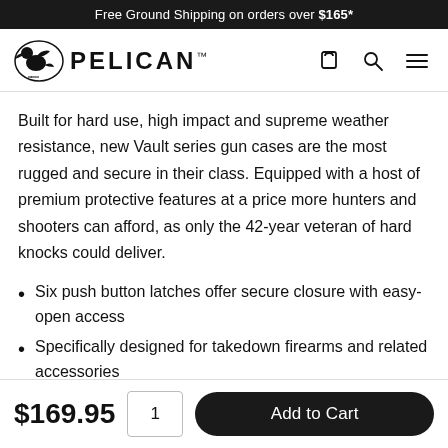Free Ground Shipping on orders over $165*
[Figure (logo): Pelican logo with pelican bird icon and PELICAN text]
Built for hard use, high impact and supreme weather resistance, new Vault series gun cases are the most rugged and secure in their class. Equipped with a host of premium protective features at a price more hunters and shooters can afford, as only the 42-year veteran of hard knocks could deliver.
Six push button latches offer secure closure with easy-open access
Specifically designed for takedown firearms and related accessories
$169.95  1  Add to Cart